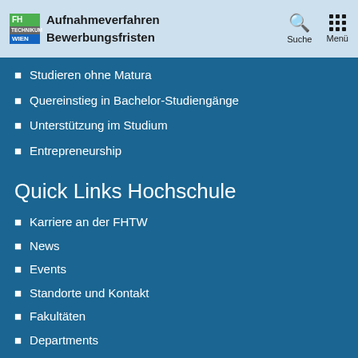Aufnahmeverfahren / Bewerbungsfristen | Suche | Menü
Studieren ohne Matura
Quereinstieg in Bachelor-Studiengänge
Unterstützung im Studium
Entrepreneurship
Quick Links Hochschule
Karriere an der FHTW
News
Events
Standorte und Kontakt
Fakultäten
Departments
Fachabteilungen
Jobs bei Partnerunternehmen (Portal)